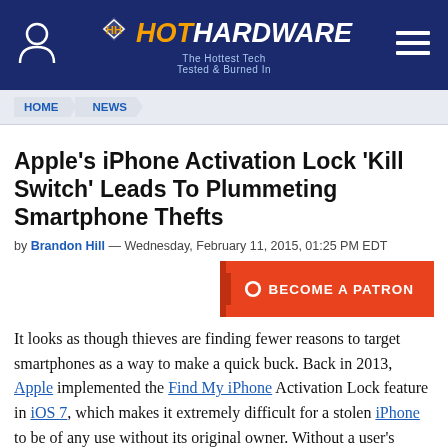HotHardware - The Hottest Tech Tested & Burned In
HOME > NEWS
Apple’s iPhone Activation Lock ‘Kill Switch’ Leads To Plummeting Smartphone Thefts
by Brandon Hill — Wednesday, February 11, 2015, 01:25 PM EDT
[Figure (other): Become a Patron button (Patreon CTA)]
It looks as though thieves are finding fewer reasons to target smartphones as a way to make a quick buck. Back in 2013, Apple implemented the Find My iPhone Activation Lock feature in iOS 7, which makes it extremely difficult for a stolen iPhone to be of any use without its original owner. Without a user’s Apple ID and password, a thief would be unable to turn off Find My iPhone, erase the device, or reactivate it. So you can see why thieves have been giving iPhones a bit more of a wide berth.